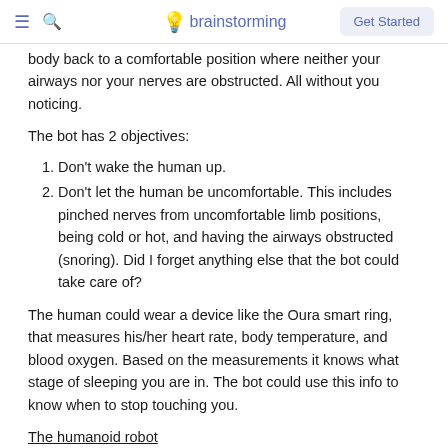brainstorming — Get Started
body back to a comfortable position where neither your airways nor your nerves are obstructed. All without you noticing.
The bot has 2 objectives:
Don't wake the human up.
Don't let the human be uncomfortable. This includes pinched nerves from uncomfortable limb positions, being cold or hot, and having the airways obstructed (snoring). Did I forget anything else that the bot could take care of?
The human could wear a device like the Oura smart ring, that measures his/her heart rate, body temperature, and blood oxygen. Based on the measurements it knows what stage of sleeping you are in. The bot could use this info to know when to stop touching you.
The humanoid robot
When first announcing the Tesla humanoid robot last year, Elon